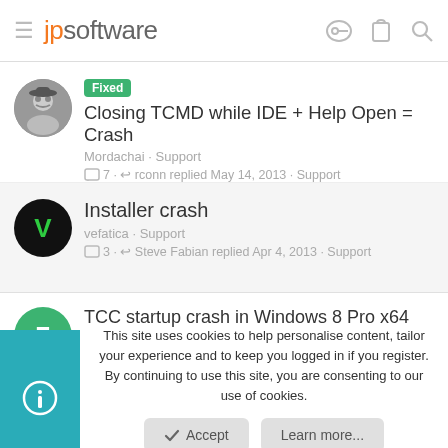jpsoftware
Closing TCMD while IDE + Help Open = Crash
Mordachai · Support
7 · rconn replied May 14, 2013 · Support
Installer crash
vefatica · Support
3 · Steve Fabian replied Apr 4, 2013 · Support
TCC startup crash in Windows 8 Pro x64
753951 · Support
This site uses cookies to help personalise content, tailor your experience and to keep you logged in if you register. By continuing to use this site, you are consenting to our use of cookies.
Accept
Learn more...